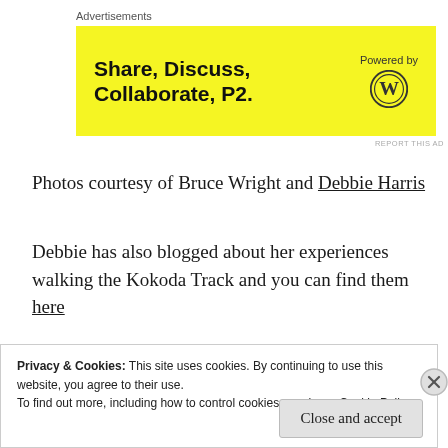Advertisements
[Figure (other): Advertisement banner with yellow background. Text: Share, Discuss, Collaborate, P2. Powered by WordPress logo.]
Photos courtesy of Bruce Wright and Debbie Harris
Debbie has also blogged about her experiences walking the Kokoda Track and you can find them here
Pin me
Privacy & Cookies: This site uses cookies. By continuing to use this website, you agree to their use.
To find out more, including how to control cookies, see here: Cookie Policy
Close and accept